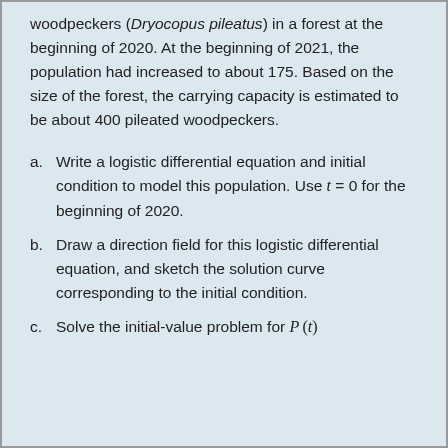woodpeckers (Dryocopus pileatus) in a forest at the beginning of 2020. At the beginning of 2021, the population had increased to about 175. Based on the size of the forest, the carrying capacity is estimated to be about 400 pileated woodpeckers.
a. Write a logistic differential equation and initial condition to model this population. Use t = 0 for the beginning of 2020.
b. Draw a direction field for this logistic differential equation, and sketch the solution curve corresponding to the initial condition.
c. Solve the initial-value problem for P(t)